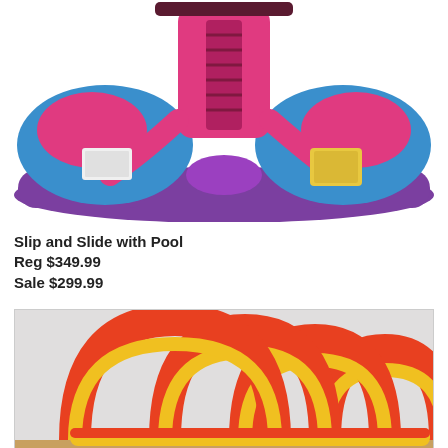[Figure (photo): Pink, blue, and purple inflatable slip and slide water slide with pool, featuring a tall center slide and two side exits]
Slip and Slide with Pool
Reg $349.99
Sale $299.99
[Figure (photo): Red, orange, and yellow inflatable obstacle course tunnel with multiple arch loops, partially visible]